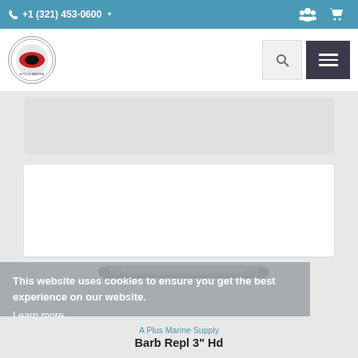+1 (321) 453-0600
[Figure (logo): A Plus Marine Supply circular logo with diver/fish emblem]
[Figure (photo): Metal barb replacement part 3 inch HD - elongated cylindrical metal piece]
This website uses cookies to ensure you get the best experience on our website. Learn more
Got it!
A Plus Marine Supply
Barb Repl 3" Hd